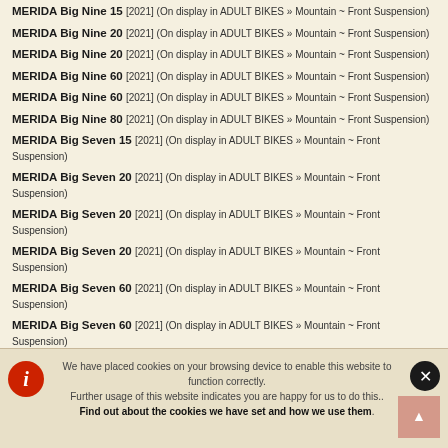MERIDA Big Nine 15 [2021] (On display in ADULT BIKES » Mountain ~ Front Suspension)
MERIDA Big Nine 20 [2021] (On display in ADULT BIKES » Mountain ~ Front Suspension)
MERIDA Big Nine 20 [2021] (On display in ADULT BIKES » Mountain ~ Front Suspension)
MERIDA Big Nine 60 [2021] (On display in ADULT BIKES » Mountain ~ Front Suspension)
MERIDA Big Nine 60 [2021] (On display in ADULT BIKES » Mountain ~ Front Suspension)
MERIDA Big Nine 80 [2021] (On display in ADULT BIKES » Mountain ~ Front Suspension)
MERIDA Big Seven 15 [2021] (On display in ADULT BIKES » Mountain ~ Front Suspension)
MERIDA Big Seven 20 [2021] (On display in ADULT BIKES » Mountain ~ Front Suspension)
MERIDA Big Seven 20 [2021] (On display in ADULT BIKES » Mountain ~ Front Suspension)
MERIDA Big Seven 20 [2021] (On display in ADULT BIKES » Mountain ~ Front Suspension)
MERIDA Big Seven 60 [2021] (On display in ADULT BIKES » Mountain ~ Front Suspension)
MERIDA Big Seven 60 [2021] (On display in ADULT BIKES » Mountain ~ Front Suspension)
MERIDA Big Seven 80 [2021] (On display in ADULT BIKES » Mountain ~ Front Suspension)
MERIDA Big Trail 400 [2021] (On display in ADULT BIKES » Mountain ~ Front Suspension)
MERIDA Big Trail 500 [2021] (On display in ADULT BIKES » Mountain ~ Front Suspension)
MERIDA Big Trail 600 [2021] (On display in ADULT BIKES » Mountain ~ Front Suspension)
We have placed cookies on your browsing device to enable this website to function correctly. Further usage of this website indicates you are happy for us to do this.. Find out about the cookies we have set and how we use them.